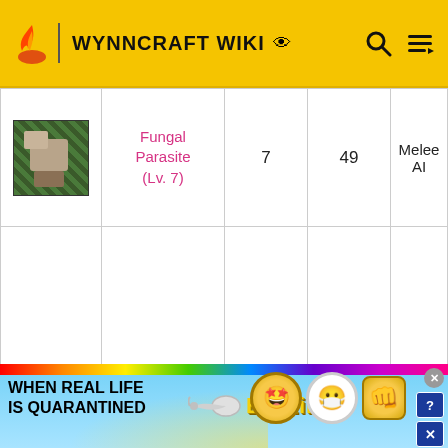WYNNCRAFT WIKI
| Image | Name | Level | HP | AI Type |
| --- | --- | --- | --- | --- |
| [image] | Fungal Parasite (Lv. 7) | 7 | 49 | Melee AI |
| [image] | Fungal Parasite (Lv. 8) | 8 | 35 | Ranged AI |
[Figure (infographic): BitLife advertisement banner: 'WHEN REAL LIFE IS QUARANTINED' with rainbow stripe, sperm mascot, BitLife logo, emoji characters]